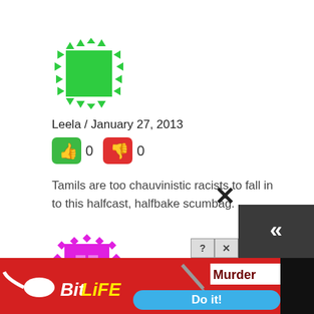[Figure (illustration): Green pixel/geometric avatar icon for user Leela]
Leela / January 27, 2013
[Figure (illustration): Thumbs up (green) button with count 0, thumbs down (red) button with count 0]
Tamils are too chauvinistic racists to fall in to this halfcast, halfbake scumbag.
[Figure (illustration): Magenta/pink pixel/geometric avatar icon for user Capucine]
Capucine / January 27, 2013
[Figure (illustration): BitLife advertisement banner with Murder / Do it! game overlay]